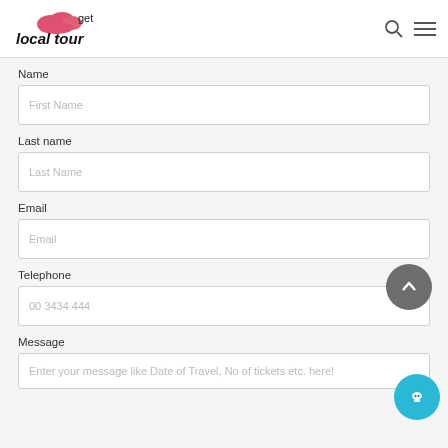get local tour
Name
First Name
Last name
Last Name
Email
Email
Telephone
00 3434 444
Message
Enter your message like Date of Travel, No of tickets etc. here!